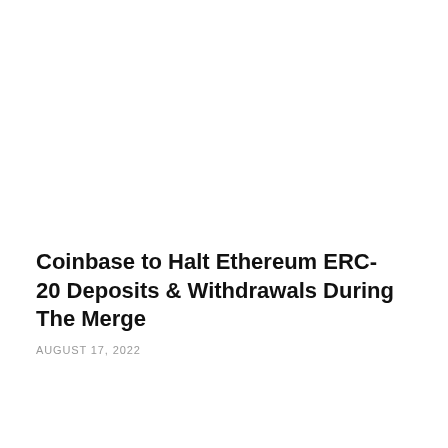Coinbase to Halt Ethereum ERC-20 Deposits & Withdrawals During The Merge
AUGUST 17, 2022